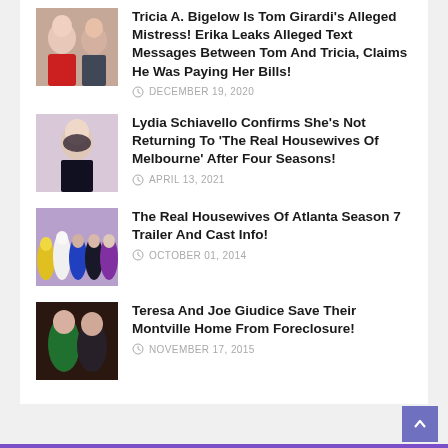Tricia A. Bigelow Is Tom Girardi's Alleged Mistress! Erika Leaks Alleged Text Messages Between Tom And Tricia, Claims He Was Paying Her Bills!
Lydia Schiavello Confirms She's Not Returning To 'The Real Housewives Of Melbourne' After Four Seasons!
The Real Housewives Of Atlanta Season 7 Trailer And Cast Info!
Teresa And Joe Giudice Save Their Montville Home From Foreclosure!
RECENT COMMENTS